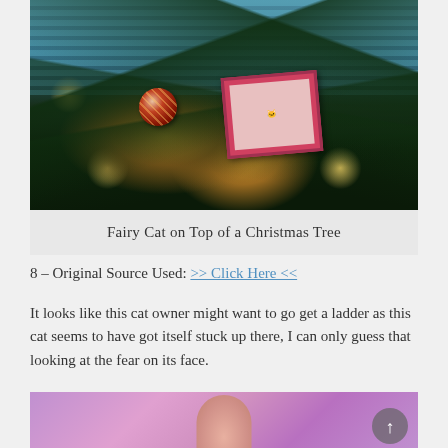[Figure (photo): A cat ornament or decoration on top of a Christmas tree, with a red/pink photo frame ornament visible, gold/red striped ball ornament, Christmas lights, and window blinds visible in the background.]
Fairy Cat on Top of a Christmas Tree
8 – Original Source Used: >> Click Here <<
It looks like this cat owner might want to go get a ladder as this cat seems to have got itself stuck up there, I can only guess that looking at the fear on its face.
[Figure (photo): Bottom portion of another photo showing a pink/purple background with what appears to be a hand or paw visible at the bottom center.]